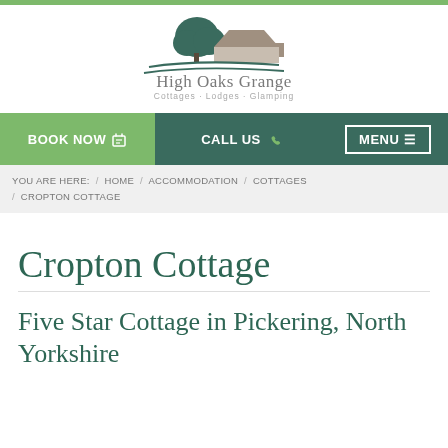[Figure (logo): High Oaks Grange logo with tree and cottage silhouette, text 'High Oaks Grange Cottages · Lodges · Glamping']
BOOK NOW  CALL US  MENU
YOU ARE HERE: / HOME / ACCOMMODATION / COTTAGES / CROPTON COTTAGE
Cropton Cottage
Five Star Cottage in Pickering, North Yorkshire